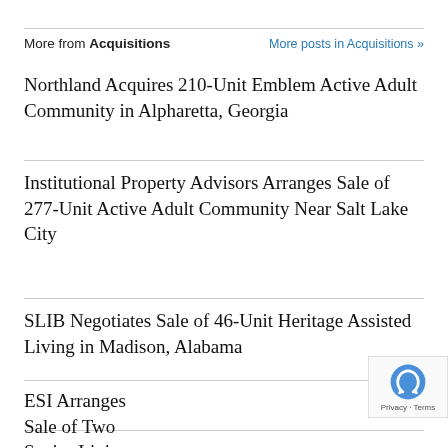More from Acquisitions | More posts in Acquisitions »
Northland Acquires 210-Unit Emblem Active Adult Community in Alpharetta, Georgia
Institutional Property Advisors Arranges Sale of 277-Unit Active Adult Community Near Salt Lake City
SLIB Negotiates Sale of 46-Unit Heritage Assisted Living in Madison, Alabama
ESI Arranges Sale of Two Senior Living Communities in Michigan for $38.3M
More Investor Exchanges Senior Living From...